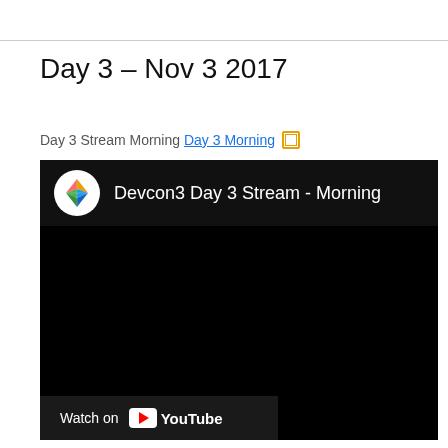Day 3 – Nov 3 2017
Day 3 Stream Morning Day 3 Morning 🔗
[Figure (screenshot): Embedded YouTube video player showing 'Devcon3 Day 3 Stream - Morning' with Ethereum logo in the header, black video body, and YouTube 'Watch on YouTube' bar at the bottom.]